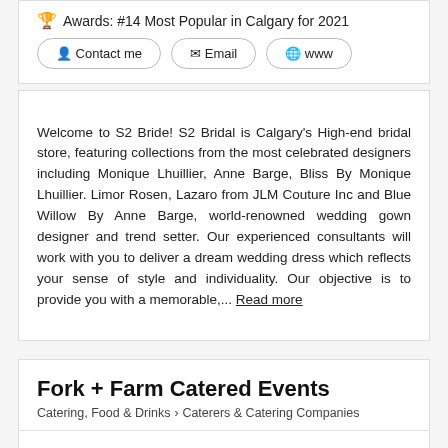Awards: #14 Most Popular in Calgary for 2021
Contact me   Email   www
Welcome to S2 Bride! S2 Bridal is Calgary's High-end bridal store, featuring collections from the most celebrated designers including Monique Lhuillier, Anne Barge, Bliss By Monique Lhuillier. Limor Rosen, Lazaro from JLM Couture Inc and Blue Willow By Anne Barge, world-renowned wedding gown designer and trend setter. Our experienced consultants will work with you to deliver a dream wedding dress which reflects your sense of style and individuality. Our objective is to provide you with a memorable,... Read more
Fork + Farm Catered Events
Catering, Food & Drinks > Caterers & Catering Companies
20 920 28 St NE, Calgary City, Alberta T2A 6K1
40-50 km from Morley
Contact me   Email   www